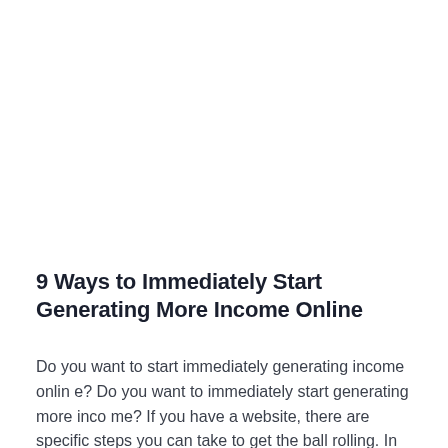9 Ways to Immediately Start Generating More Income Online
Do you want to start immediately generating income online? Do you want to immediately start generating more income? If you have a website, there are specific steps you can take to get the ball rolling. In this post, I'm going to share th